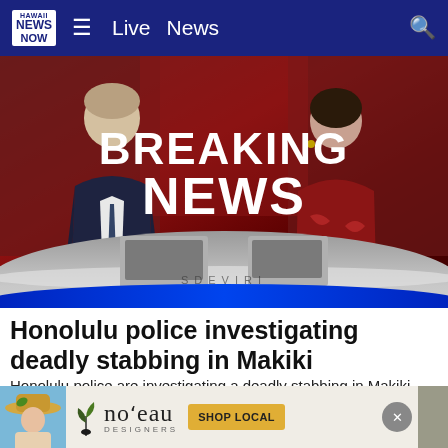Hawaii News Now — Live  News
[Figure (screenshot): TV news broadcast screenshot showing two news anchors at a desk with 'BREAKING NEWS' text overlay on a dark red background. Left anchor is a male in a dark suit, right anchor is a female in a red patterned dress. The studio has a curved blue-accented anchor desk.]
Honolulu police investigating deadly stabbing in Makiki
Honolulu police are investigating a deadly stabbing in Makiki on Friday.
Hawaii News Now
[Figure (photo): Advertisement banner for no'eau Designers featuring a woman in a sun hat, the no'eau Designers logo with a plant icon, and a 'SHOP LOCAL' button in gold/yellow.]